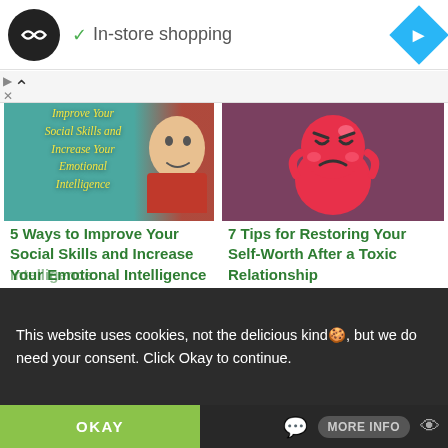[Figure (screenshot): Top ad bar with circular logo, 'In-store shopping' text with checkmark, and blue navigation diamond icon on the right]
[Figure (screenshot): Left thumbnail: teal background with italic yellow text 'Improve Your Social Skills and Increase Your Emotional Intelligence' overlay, person in red shirt on right]
5 Ways to Improve Your Social Skills and Increase Your Emotional Intelligence
[Figure (illustration): Right thumbnail: angry red heart-shaped cartoon emoji face on dark background]
7 Tips for Restoring Your Self-Worth After a Toxic Relationship
This website uses cookies, not the delicious kind🍪, but we do need your consent. Click Okay to continue.
OKAY
MORE INFO